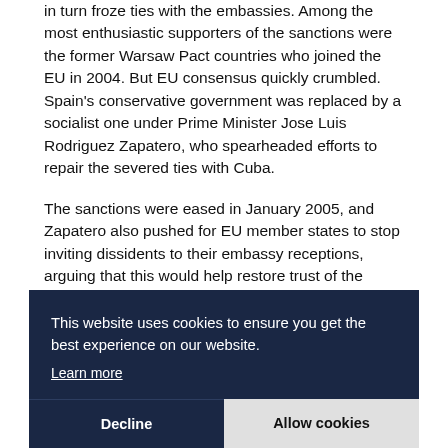in turn froze ties with the embassies. Among the most enthusiastic supporters of the sanctions were the former Warsaw Pact countries who joined the EU in 2004. But EU consensus quickly crumbled. Spain's conservative government was replaced by a socialist one under Prime Minister Jose Luis Rodriguez Zapatero, who spearheaded efforts to repair the severed ties with Cuba.
The sanctions were eased in January 2005, and Zapatero also pushed for EU member states to stop inviting dissidents to their embassy receptions, a... T... p... H... f "... id... to... w... unanimously.
[Figure (other): Cookie consent banner overlay with dark navy background. Text reads: 'This website uses cookies to ensure you get the best experience on our website.' with a 'Learn more' link. Two buttons at bottom: 'Decline' (dark) and 'Allow cookies' (light grey).]